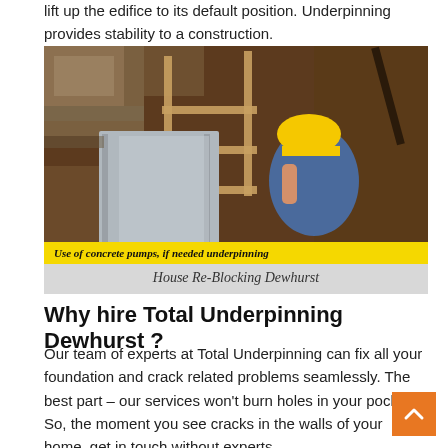lift up the edifice to its default position. Underpinning provides stability to a construction.
[Figure (photo): Construction worker in yellow hard hat working on underpinning/re-blocking foundation with timber formwork and a large concrete panel in an excavated site. Yellow overlay text reads: 'Use of concrete pumps, if needed underpinning']
House Re-Blocking Dewhurst
Why hire Total Underpinning Dewhurst ?
Our team of experts at Total Underpinning can fix all your foundation and crack related problems seamlessly. The best part – our services won't burn holes in your pocket. So, the moment you see cracks in the walls of your home, get in touch without experts.